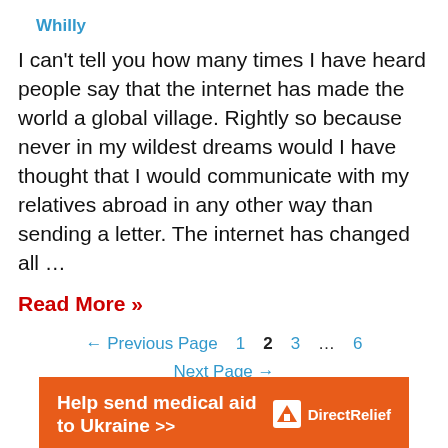Whilly
I can't tell you how many times I have heard people say that the internet has made the world a global village. Rightly so because never in my wildest dreams would I have thought that I would communicate with my relatives abroad in any other way than sending a letter. The internet has changed all …
Read More »
← Previous Page   1   2   3   …   6
Next Page →
[Figure (infographic): Orange advertisement banner: 'Help send medical aid to Ukraine >>' with Direct Relief logo on the right]